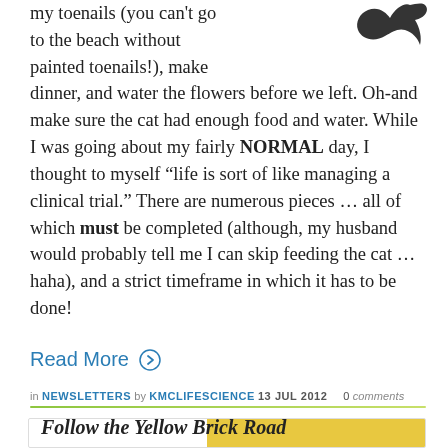my toenails (you can't go to the beach without painted toenails!), make dinner, and water the flowers before we left. Oh-and make sure the cat had enough food and water. While I was going about my fairly NORMAL day, I thought to myself “life is sort of like managing a clinical trial.” There are numerous pieces … all of which must be completed (although, my husband would probably tell me I can skip feeding the cat … haha), and a strict timeframe in which it has to be done!
Read More →
in NEWSLETTERS by KMCLIFESCIENCE 13 JUL 2012  0 comments
Follow the Yellow Brick Road